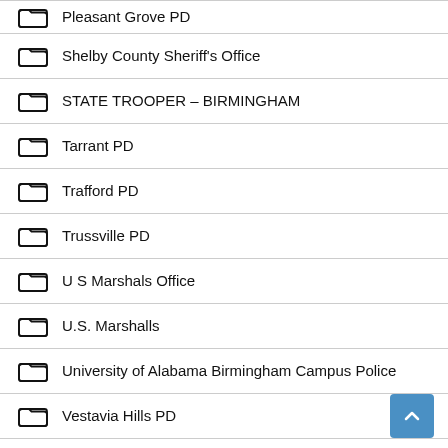Pleasant Grove PD
Shelby County Sheriff's Office
STATE TROOPER – BIRMINGHAM
Tarrant PD
Trafford PD
Trussville PD
U S Marshals Office
U.S. Marshalls
University of Alabama Birmingham Campus Police
Vestavia Hills PD
Warrior PD